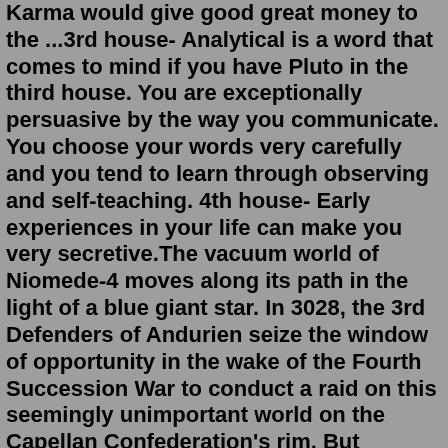Karma would give good great money to the ...3rd house- Analytical is a word that comes to mind if you have Pluto in the third house. You are exceptionally persuasive by the way you communicate. You choose your words very carefully and you tend to learn through observing and self-teaching. 4th house- Early experiences in your life can make you very secretive.The vacuum world of Niomede-4 moves along its path in the light of a blue giant star. In 3028, the 3rd Defenders of Andurien seize the window of opportunity in the wake of the Fourth Succession War to conduct a raid on this seemingly unimportant world on the Capellan Confederation's rim. But whatever their target might be: First they must overcome a company of the legendary Warrior House Kamata.The vacuum world of Niomede-4 moves along its path in the light of a blue giant star. In 3028, the 3rd Defenders of Andurien seize the window of opportunity in the wake of the Fourth Succession War to conduct a raid on this seemingly unimportant world on the Capellan Confederation's rim. But